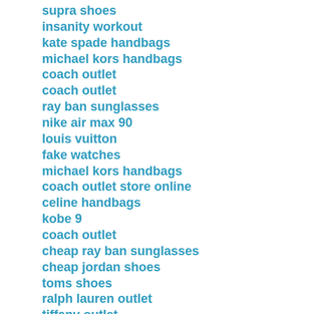supra shoes
insanity workout
kate spade handbags
michael kors handbags
coach outlet
coach outlet
ray ban sunglasses
nike air max 90
louis vuitton
fake watches
michael kors handbags
coach outlet store online
celine handbags
kobe 9
coach outlet
cheap ray ban sunglasses
cheap jordan shoes
toms shoes
ralph lauren outlet
tiffany outlet
adidas superstars
longchamp outlet